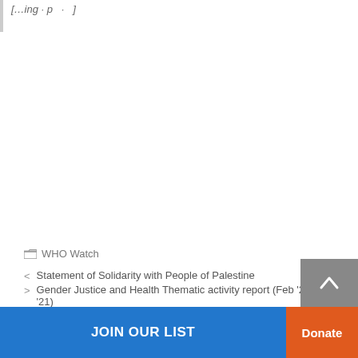[partial title text]
WHO Watch
< Statement of Solidarity with People of Palestine
> Gender Justice and Health Thematic activity report (Feb '20- Feb '21)
JOIN OUR LIST  Donate